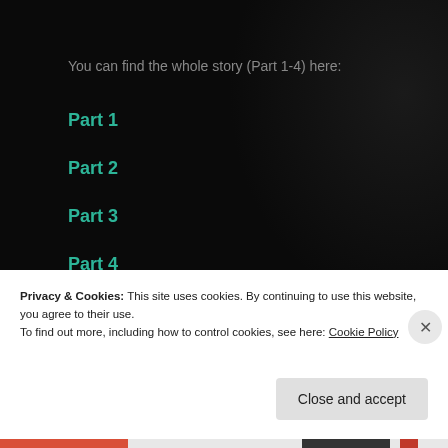You can find the whole story (Part 1-4) here:
Part 1
Part 2
Part 3
Part 4
... give it a try, you will not regret it.
Privacy & Cookies: This site uses cookies. By continuing to use this website, you agree to their use.
To find out more, including how to control cookies, see here: Cookie Policy
Close and accept